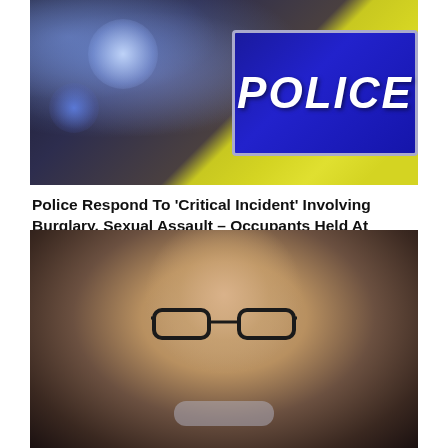[Figure (photo): A police officer in a high-visibility yellow jacket, showing a dark blue POLICE badge/sign on their chest. Background shows blurred blue bokeh lights suggesting a nighttime scene.]
Police Respond To ‘Critical Incident’ Involving Burglary, Sexual Assault – Occupants Held At Knifepoint
[Figure (photo): Close-up portrait of an older man wearing black-rimmed glasses and a face mask pulled down below his chin, photographed against a dark background.]